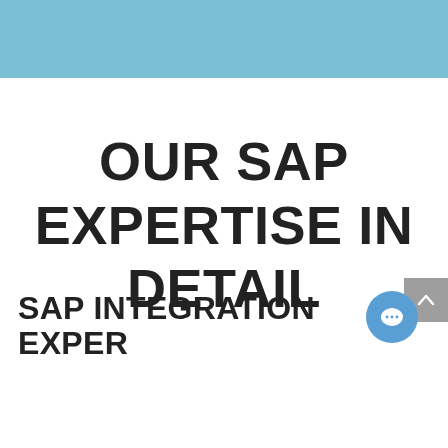[Figure (other): Light blue decorative header bar at the top of the page]
OUR SAP EXPERTISE IN DETAIL
SAP Integration Exper...